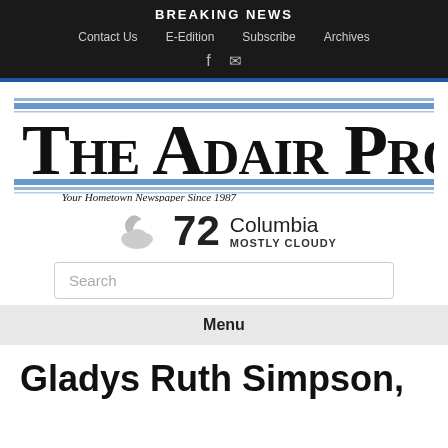BREAKING NEWS
Contact Us   E-Edition   Subscribe   Archives
[Figure (logo): The Adair Progress newspaper logo with tagline 'Your Hometown Newspaper Since 1987']
72  Columbia  MOSTLY CLOUDY
Search
Menu
Gladys Ruth Simpson,